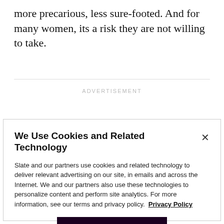more precarious, less sure-footed. And for many women, its a risk they are not willing to take.
ADVERTISEMENT
We Use Cookies and Related Technology
Slate and our partners use cookies and related technology to deliver relevant advertising on our site, in emails and across the Internet. We and our partners also use these technologies to personalize content and perform site analytics. For more information, see our terms and privacy policy.  Privacy Policy
OK